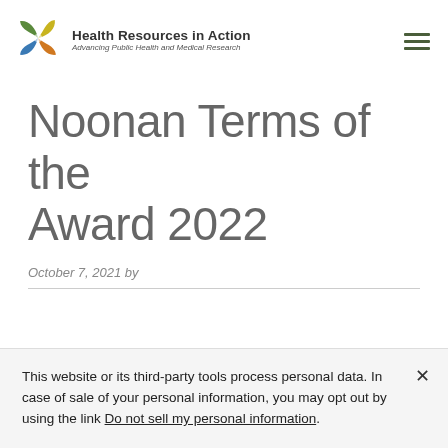[Figure (logo): Health Resources in Action logo — colorful pinwheel/cross shape with green, yellow, blue, and orange segments]
Health Resources in Action
Advancing Public Health and Medical Research
Noonan Terms of the Award 2022
October 7, 2021 by
This website or its third-party tools process personal data. In case of sale of your personal information, you may opt out by using the link Do not sell my personal information.